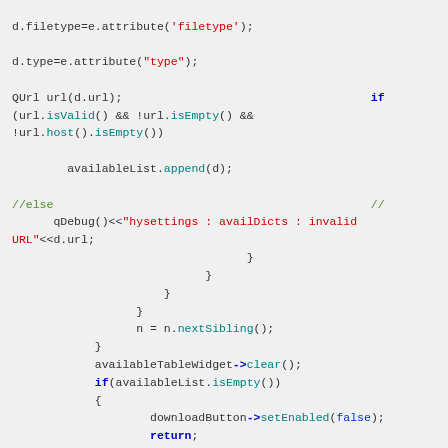Source code snippet in C++/Qt showing URL validation and available dictionary list logic